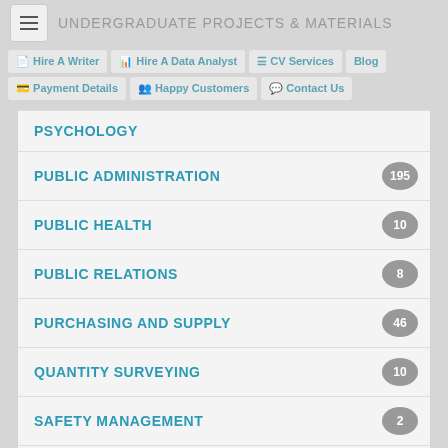UNDERGRADUATE PROJECTS & MATERIALS
PSYCHOLOGY
PUBLIC ADMINISTRATION — 195
PUBLIC HEALTH — 10
PUBLIC RELATIONS — 8
PURCHASING AND SUPPLY — 46
QUANTITY SURVEYING — 10
SAFETY MANAGEMENT — 2
SECRETARIAL STUDIES — 40
SECURITY MANAGEMENT — 8